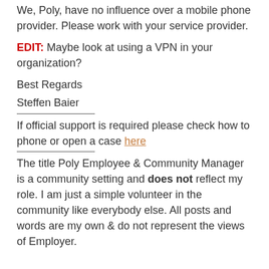We, Poly, have no influence over a mobile phone provider. Please work with your service provider.
EDIT: Maybe look at using a VPN in your organization?
Best Regards
Steffen Baier
If official support is required please check how to phone or open a case here
The title Poly Employee & Community Manager is a community setting and does not reflect my role. I am just a simple volunteer in the community like everybody else. All posts and words are my own & do not represent the views of Employer.